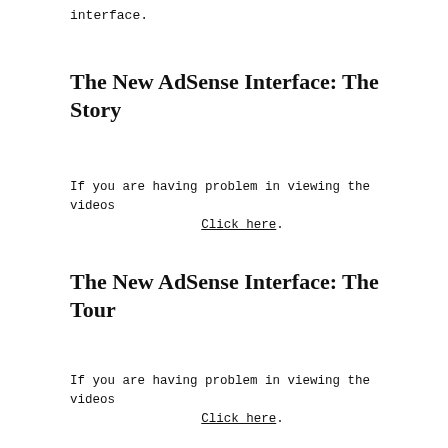interface.
The New AdSense Interface: The Story
If you are having problem in viewing the videos
Click here.
The New AdSense Interface: The Tour
If you are having problem in viewing the videos
Click here.